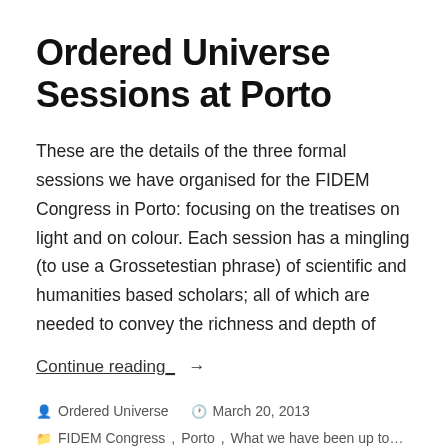Ordered Universe Sessions at Porto
These are the details of the three formal sessions we have organised for the FIDEM Congress in Porto: focusing on the treatises on light and on colour. Each session has a mingling (to use a Grossetestian phrase) of scientific and humanities based scholars; all of which are needed to convey the richness and depth of
Continue reading →
Ordered Universe   March 20, 2013
FIDEM Congress, Porto, What we have been up to...
AHRC, de iride, de luce, Durham Grosseteste Project, FIDEM,